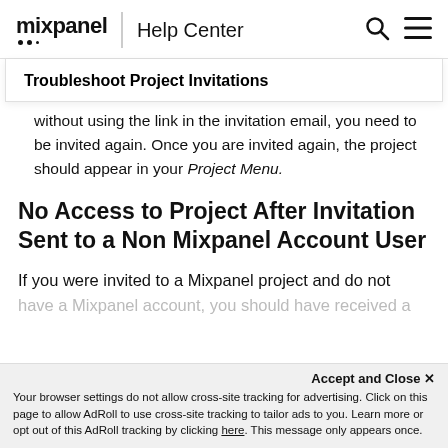mixpanel | Help Center
Troubleshoot Project Invitations
without using the link in the invitation email, you need to be invited again. Once you are invited again, the project should appear in your Project Menu.
No Access to Project After Invitation Sent to a Non Mixpanel Account User
If you were invited to a Mixpanel project and do not have a Mixpanel account, you should hav...
Accept and Close ✕
Your browser settings do not allow cross-site tracking for advertising. Click on this page to allow AdRoll to use cross-site tracking to tailor ads to you. Learn more or opt out of this AdRoll tracking by clicking here. This message only appears once.